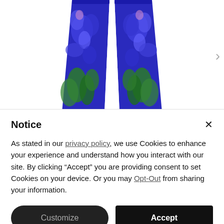[Figure (photo): A blue floral patterned scarf/garment hanging, showing blue iris flowers and green foliage on blue fabric against a white background. The item tapers to a point at the bottom.]
Notice
As stated in our privacy policy, we use Cookies to enhance your experience and understand how you interact with our site. By clicking “Accept” you are providing consent to set Cookies on your device. Or you may Opt-Out from sharing your information.
Customize
Accept